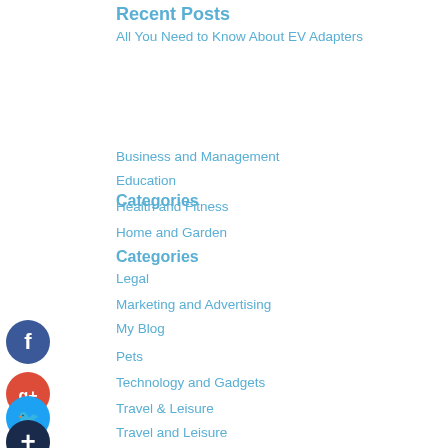Recent Posts
All You Need to Know About EV Adapters
Categories
Business and Management
Education
Health and Fitness
Home and Garden
Legal
Marketing and Advertising
My Blog
Pets
Technology and Gadgets
Travel & Leisure
Travel and Leisure
August 2022
July 2022
June 2022
May 2022